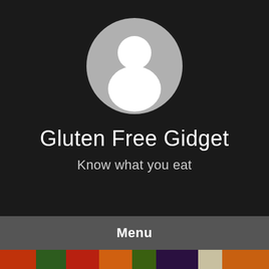[Figure (illustration): Default user avatar: a gray circle with a white silhouette of a person (head and shoulders)]
Gluten Free Gidget
Know what you eat
Menu
[Figure (photo): A strip photo of colorful fresh vegetables including red peppers, tomatoes, carrots, eggplant, and garlic on a dark surface]